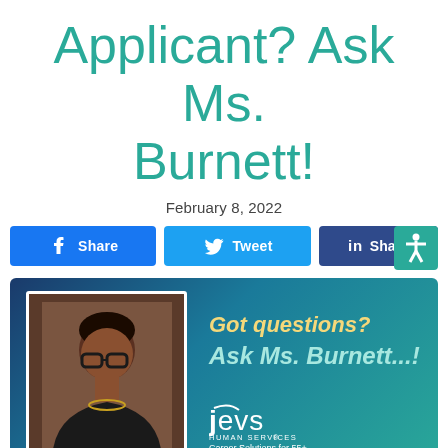Applicant? Ask Ms. Burnett!
February 8, 2022
[Figure (screenshot): Social sharing buttons: Facebook, Twitter, LinkedIn, and an accessibility icon button]
[Figure (infographic): JEVS Human Services Career Solutions for 55+ banner with photo of Ms. Burnett and text 'Got questions? Ask Ms. Burnett...!']